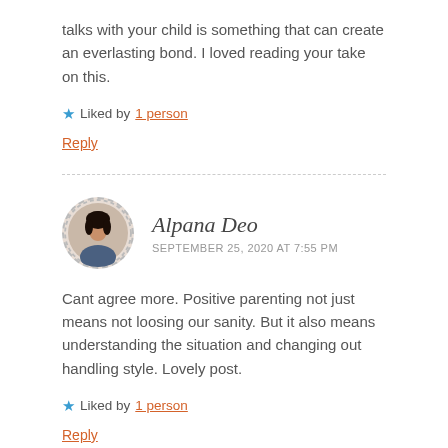talks with your child is something that can create an everlasting bond. I loved reading your take on this.
★ Liked by 1 person
Reply
Alpana Deo
SEPTEMBER 25, 2020 AT 7:55 PM
Cant agree more. Positive parenting not just means not loosing our sanity. But it also means understanding the situation and changing out handling style. Lovely post.
★ Liked by 1 person
Reply